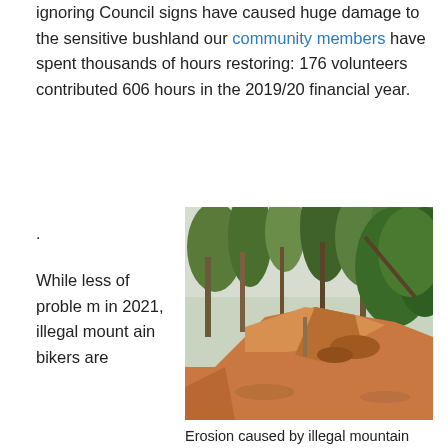ignoring Council signs have caused huge damage to the sensitive bushland our community members have spent thousands of hours restoring: 176 volunteers contributed 606 hours in the 2019/20 financial year.
.
While less of problem in 2021, illegal mountain bikers are
[Figure (photo): A photograph showing erosion damage to bushland caused by illegal mountain biking. A bare dirt mound with exposed orange-brown soil is surrounded by eucalyptus trees and green vegetation. Taken January 2021.]
Erosion caused by illegal mountain biking – Jan 2021